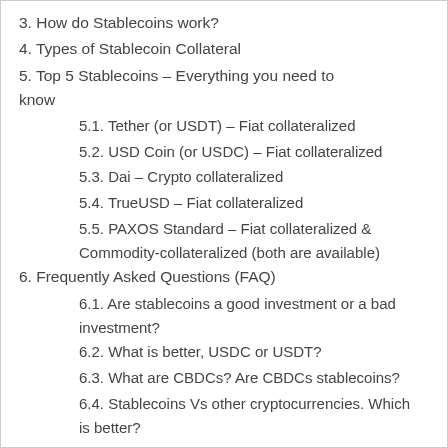3. How do Stablecoins work?
4. Types of Stablecoin Collateral
5. Top 5 Stablecoins – Everything you need to know
5.1. Tether (or USDT) – Fiat collateralized
5.2. USD Coin (or USDC) – Fiat collateralized
5.3. Dai – Crypto collateralized
5.4. TrueUSD – Fiat collateralized
5.5. PAXOS Standard – Fiat collateralized & Commodity-collateralized (both are available)
6. Frequently Asked Questions (FAQ)
6.1. Are stablecoins a good investment or a bad investment?
6.2. What is better, USDC or USDT?
6.3. What are CBDCs? Are CBDCs stablecoins?
6.4. Stablecoins Vs other cryptocurrencies. Which is better?